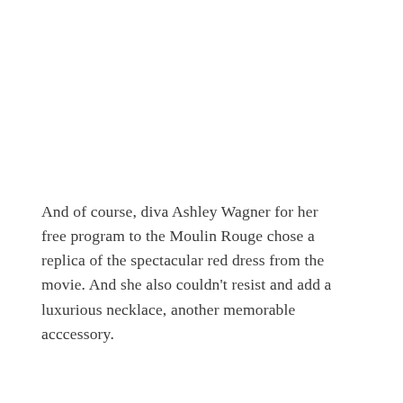And of course, diva Ashley Wagner for her free program to the Moulin Rouge chose a replica of the spectacular red dress from the movie. And she also couldn't resist and add a luxurious necklace, another memorable acccessory.